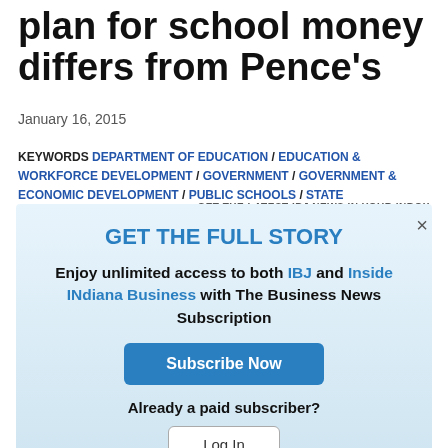plan for school money differs from Pence's
January 16, 2015
KEYWORDS DEPARTMENT OF EDUCATION / EDUCATION & WORKFORCE DEVELOPMENT / GOVERNMENT / GOVERNMENT & ECONOMIC DEVELOPMENT / PUBLIC SCHOOLS / STATE GOVERNMENT
GET THE LATEST IBJ NEWS IN YOUR INBOX
GET THE FULL STORY
Enjoy unlimited access to both IBJ and Inside INdiana Business with The Business News Subscription
Subscribe Now
Already a paid subscriber?
Log In